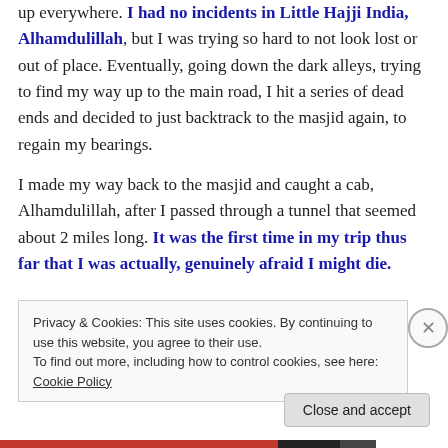up everywhere. I had no incidents in Little Hajji India, Alhamdulillah, but I was trying so hard to not look lost or out of place. Eventually, going down the dark alleys, trying to find my way up to the main road, I hit a series of dead ends and decided to just backtrack to the masjid again, to regain my bearings.
I made my way back to the masjid and caught a cab, Alhamdulillah, after I passed through a tunnel that seemed about 2 miles long. It was the first time in my trip thus far that I was actually, genuinely afraid I might die.
Privacy & Cookies: This site uses cookies. By continuing to use this website, you agree to their use.
To find out more, including how to control cookies, see here: Cookie Policy